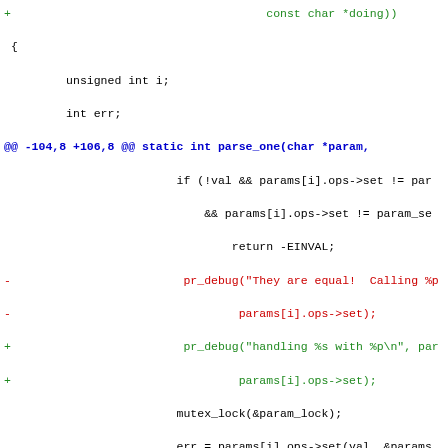Code diff showing changes to parse_one function with additions and deletions related to pr_debug calls and handle_unknown handling.